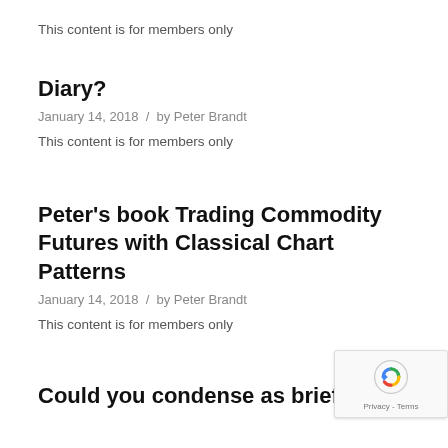This content is for members only
Diary?
January 14, 2018 / by Peter Brandt
This content is for members only
Peter's book Trading Commodity Futures with Classical Chart Patterns
January 14, 2018 / by Peter Brandt
This content is for members only
Could you condense as briefly as possible th…